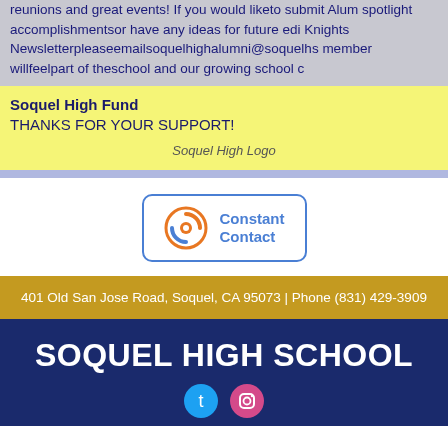reunions and great events! If you would like to submit Alumni spotlight accomplishments or have any ideas for future editions of the Knights Newsletter please email soquelhighalumni@soquelhs... member will feel part of the school and our growing school c...
Soquel High Fund
THANKS FOR YOUR SUPPORT!
[Figure (logo): Soquel High Logo placeholder image]
[Figure (logo): Constant Contact logo with circular arrows icon and text 'Constant Contact']
401 Old San Jose Road, Soquel, CA 95073 | Phone (831) 429-3909
SOQUEL HIGH SCHOOL